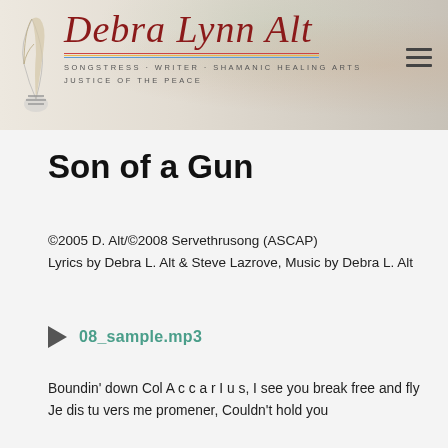Debra Lynn Alt — SONGSTRESS · WRITER · SHAMANIC HEALING ARTS — JUSTICE OF THE PEACE
Son of a Gun
©2005 D. Alt/©2008 Servethrusong (ASCAP)
Lyrics by Debra L. Alt & Steve Lazrove, Music by Debra L. Alt
[Figure (other): Audio player with play button and filename 08_sample.mp3]
Boundin' down Col A c c a r I u s, I see you break free and fly
Je dis tu vers me promener, Couldn't hold you